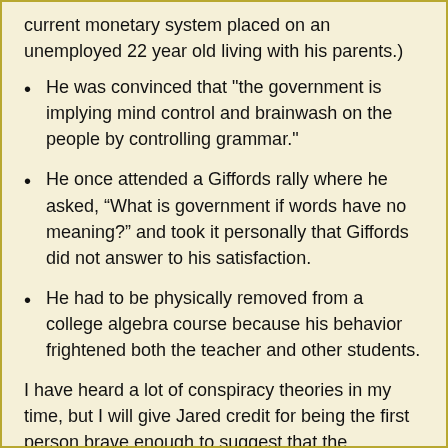current monetary system placed on an unemployed 22 year old living with his parents.)
He was convinced that "the government is implying mind control and brainwash on the people by controlling grammar."
He once attended a Giffords rally where he asked, “What is government if words have no meaning?” and took it personally that Giffords did not answer to his satisfaction.
He had to be physically removed from a college algebra course because his behavior frightened both the teacher and other students.
I have heard a lot of conspiracy theories in my time, but I will give Jared credit for being the first person brave enough to suggest that the American people are being systematically oppressed by Federally-controlled punctuation. And of all the things to take personally, he chooses the 1971 dissolution of the gold standard and college algebra?